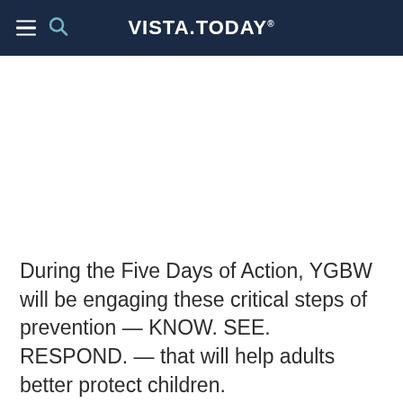VISTA.TODAY
During the Five Days of Action, YGBW will be engaging these critical steps of prevention — KNOW. SEE. RESPOND. — that will help adults better protect children.
When adults know how abuse happens, see the warning signs, and respond quickly to